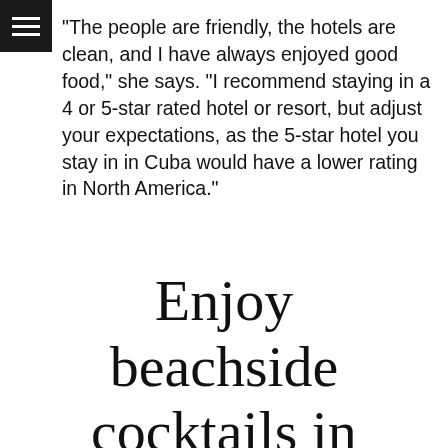"The people are friendly, the hotels are clean, and I have always enjoyed good food," she says. "I recommend staying in a 4 or 5-star rated hotel or resort, but adjust your expectations, as the 5-star hotel you stay in in Cuba would have a lower rating in North America."
Enjoy beachside cocktails in Huatulco